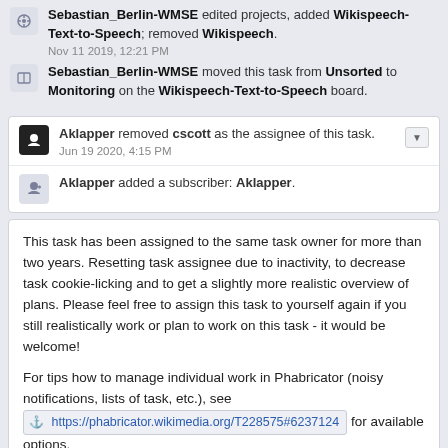Sebastian_Berlin-WMSE edited projects, added Wikispeech-Text-to-Speech; removed Wikispeech. Nov 11 2019, 12:21 PM
Sebastian_Berlin-WMSE moved this task from Unsorted to Monitoring on the Wikispeech-Text-to-Speech board.
Aklapper removed cscott as the assignee of this task. Jun 19 2020, 4:15 PM
Aklapper added a subscriber: Aklapper.
This task has been assigned to the same task owner for more than two years. Resetting task assignee due to inactivity, to decrease task cookie-licking and to get a slightly more realistic overview of plans. Please feel free to assign this task to yourself again if you still realistically work or plan to work on this task - it would be welcome!

For tips how to manage individual work in Phabricator (noisy notifications, lists of task, etc.), see https://phabricator.wikimedia.org/T228575#6237124 for available options.
(For the records, two emails were sent to assignee addresses before